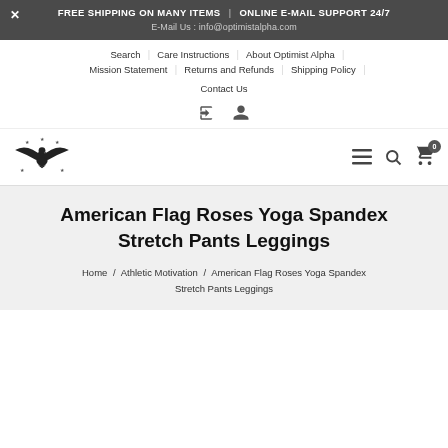FREE SHIPPING ON MANY ITEMS | ONLINE E-MAIL SUPPORT 24/7 | E-Mail Us : info@optimistalpha.com
Search | Care Instructions | About Optimist Alpha | Mission Statement | Returns and Refunds | Shipping Policy | Contact Us
[Figure (logo): Eagle logo with stars for Optimist Alpha]
American Flag Roses Yoga Spandex Stretch Pants Leggings
Home / Athletic Motivation / American Flag Roses Yoga Spandex Stretch Pants Leggings